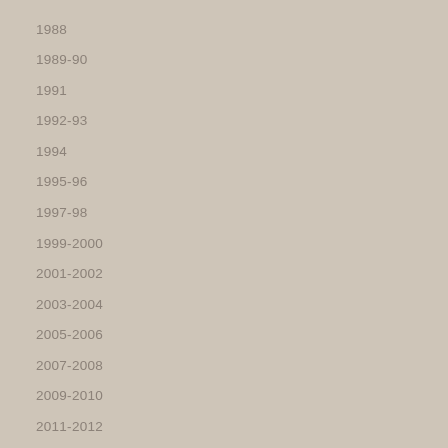1988
1989-90
1991
1992-93
1994
1995-96
1997-98
1999-2000
2001-2002
2003-2004
2005-2006
2007-2008
2009-2010
2011-2012